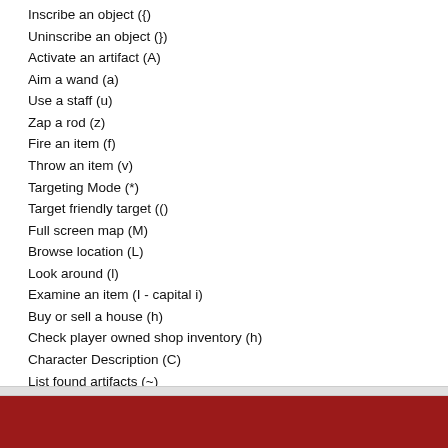Inscribe an object ({)
Uninscribe an object (})
Activate an artifact (A)
Aim a wand (a)
Use a staff (u)
Zap a rod (z)
Fire an item (f)
Throw an item (v)
Targeting Mode (*)
Target friendly target (()
Full screen map (M)
Browse location (L)
Look around (l)
Examine an item (I - capital i)
Buy or sell a house (h)
Check player owned shop inventory (h)
Character Description (C)
List found artifacts (~)
List uniques (|)
High scores (#)
Game options (=)
Quit (commit suicide) (Q or Ctrl C)
Steal (J) - Steal (try to) from other players. May get y
Tags: None